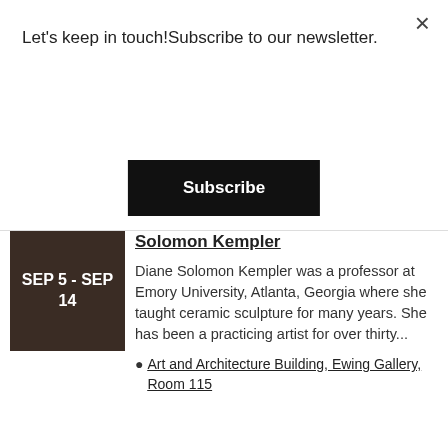Let's keep in touch!Subscribe to our newsletter.
×
Subscribe
[Figure (photo): Dark background photo of ceramic sculptures with text overlay showing date range SEP 5 - SEP 14]
Solomon Kempler
Diane Solomon Kempler was a professor at Emory University, Atlanta, Georgia where she taught ceramic sculpture for many years. She has been a practicing artist for over thirty...
Art and Architecture Building, Ewing Gallery, Room 115